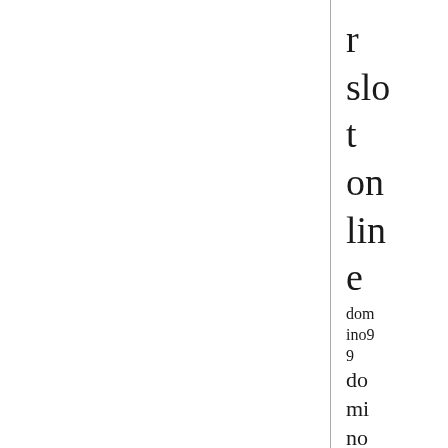r slot online domino99 domino qq Dom